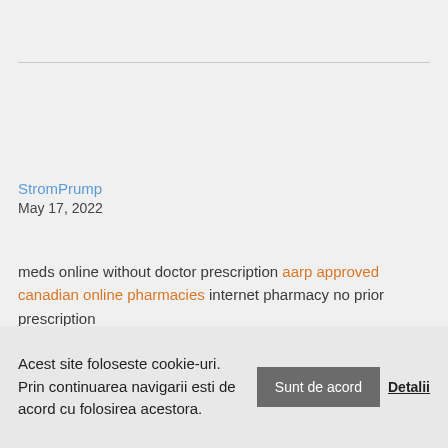StromPrump
May 17, 2022
meds online without doctor prescription aarp approved canadian online pharmacies internet pharmacy no prior prescription
Acest site foloseste cookie-uri. Prin continuarea navigarii esti de acord cu folosirea acestora. Sunt de acord Detalii